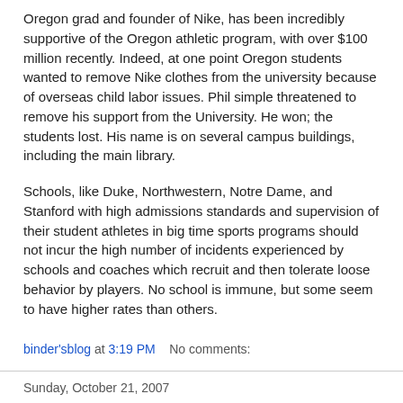Oregon grad and founder of Nike, has been incredibly supportive of the Oregon athletic program, with over $100 million recently. Indeed, at one point Oregon students wanted to remove Nike clothes from the university because of overseas child labor issues. Phil simple threatened to remove his support from the University. He won; the students lost. His name is on several campus buildings, including the main library.
Schools, like Duke, Northwestern, Notre Dame, and Stanford with high admissions standards and supervision of their student athletes in big time sports programs should not incur the high number of incidents experienced by schools and coaches which recruit and then tolerate loose behavior by players. No school is immune, but some seem to have higher rates than others.
binder'sblog at 3:19 PM   No comments:
Sunday, October 21, 2007
BRAINS VERSUS BRAWN-USC VERSUS